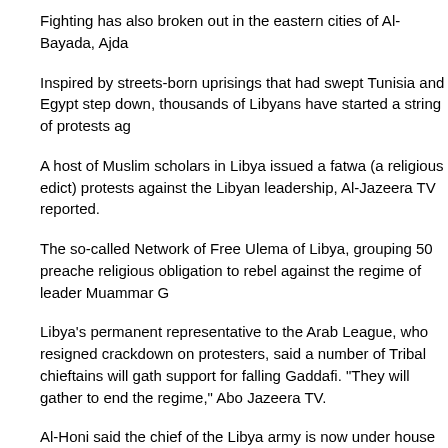Fighting has also broken out in the eastern cities of Al-Bayada, Ajda
Inspired by streets-born uprisings that had swept Tunisia and Egypt step down, thousands of Libyans have started a string of protests ag
A host of Muslim scholars in Libya issued a fatwa (a religious edict) protests against the Libyan leadership, Al-Jazeera TV reported.
The so-called Network of Free Ulema of Libya, grouping 50 preache religious obligation to rebel against the regime of leader Muammar G
Libya's permanent representative to the Arab League, who resigned crackdown on protesters, said a number of Tribal chieftains will gath support for falling Gaddafi. "They will gather to end the regime," Abo Jazeera TV.
Al-Honi said the chief of the Libya army is now under house arrest.
"I have confirmed information say Libyan army chief General Abu- B house arrest," he said.